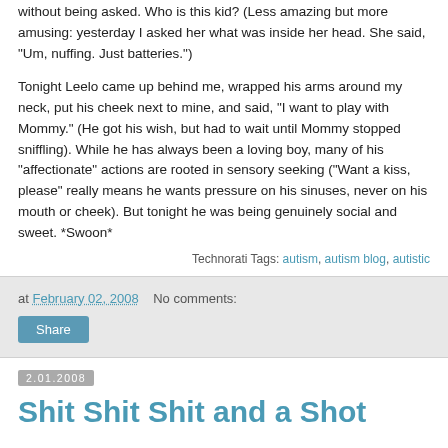without being asked. Who is this kid? (Less amazing but more amusing: yesterday I asked her what was inside her head. She said, "Um, nuffing. Just batteries.")
Tonight Leelo came up behind me, wrapped his arms around my neck, put his cheek next to mine, and said, "I want to play with Mommy." (He got his wish, but had to wait until Mommy stopped sniffling). While he has always been a loving boy, many of his "affectionate" actions are rooted in sensory seeking ("Want a kiss, please" really means he wants pressure on his sinuses, never on his mouth or cheek). But tonight he was being genuinely social and sweet. *Swoon*
Technorati Tags: autism, autism blog, autistic
at February 02, 2008   No comments:
Share
2.01.2008
Shit Shit Shit and a Shot